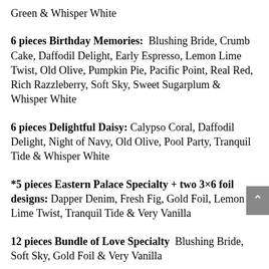Green & Whisper White
6 pieces Birthday Memories:  Blushing Bride, Crumb Cake, Daffodil Delight, Early Espresso, Lemon Lime Twist, Old Olive, Pumpkin Pie, Pacific Point, Real Red, Rich Razzleberry, Soft Sky, Sweet Sugarplum & Whisper White
6 pieces Delightful Daisy: Calypso Coral, Daffodil Delight, Night of Navy, Old Olive, Pool Party, Tranquil Tide & Whisper White
*5 pieces Eastern Palace Specialty + two 3×6 foil designs: Dapper Denim, Fresh Fig, Gold Foil, Lemon Lime Twist, Tranquil Tide & Very Vanilla
12 pieces Bundle of Love Specialty  Blushing Bride, Soft Sky, Gold Foil & Very Vanilla
12 pieces Foil Frenzy Specialty  Berry Burst…